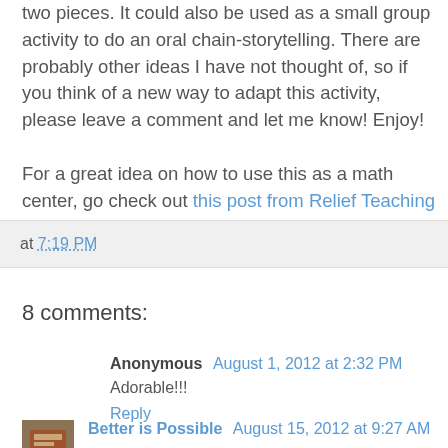two pieces. It could also be used as a small group activity to do an oral chain-storytelling. There are probably other ideas I have not thought of, so if you think of a new way to adapt this activity, please leave a comment and let me know! Enjoy!
For a great idea on how to use this as a math center, go check out this post from Relief Teaching Ideas.
at 7:19 PM
8 comments:
Anonymous August 1, 2012 at 2:32 PM
Adorable!!!
Reply
Better is Possible August 15, 2012 at 9:27 AM